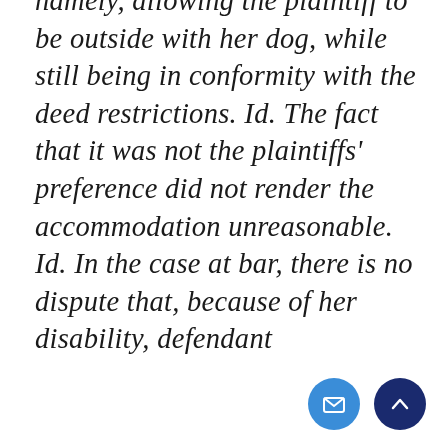namely, allowing the plaintiff to be outside with her dog, while still being in conformity with the deed restrictions. Id. The fact that it was not the plaintiffs' preference did not render the accommodation unreasonable. Id. In the case at bar, there is no dispute that, because of her disability, defendant